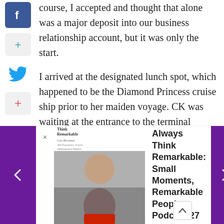course, I accepted and thought that alone was a major deposit into our business relationship account, but it was only the start.
I arrived at the designated lunch spot, which happened to be the Diamond Princess cruise ship prior to her maiden voyage. CK was waiting at the entrance to the terminal lounge area and the most
[Figure (infographic): Social sharing sidebar with Facebook icon (blue), Google+ icon (teal plus), Twitter bird icon (blue), Google+ red plus icon, and Pinterest P icon]
[Figure (infographic): Podcast navigation bar at bottom with purple left arrow, close button, podcast thumbnail images with text overlay, podcast title 'Always Think Remarkable: Small Moments, Remarkable People - Podcast 27', purple right arrow, and scroll-up button]